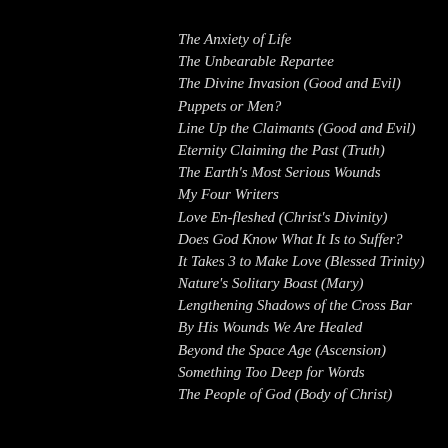The Anxiety of Life
The Unbearable Repartee
The Divine Invasion (Good and Evil)
Puppets or Men?
Line Up the Claimants (Good and Evil)
Eternity Claiming the Past (Truth)
The Earth's Most Serious Wounds
My Four Writers
Love En-fleshed (Christ's Divinity)
Does God Know What It Is to Suffer?
It Takes 3 to Make Love (Blessed Trinity)
Nature's Solitary Boast (Mary)
Lengthening Shadows of the Cross Bar
By His Wounds We Are Healed
Beyond the Space Age (Ascension)
Something Too Deep for Words
The People of God (Body of Christ)